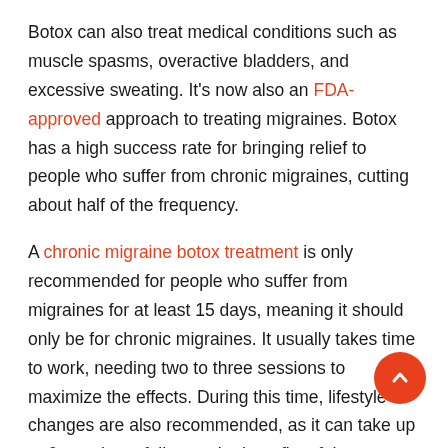Botox can also treat medical conditions such as muscle spasms, overactive bladders, and excessive sweating. It's now also an FDA-approved approach to treating migraines. Botox has a high success rate for bringing relief to people who suffer from chronic migraines, cutting about half of the frequency.
A chronic migraine botox treatment is only recommended for people who suffer from migraines for at least 15 days, meaning it should only be for chronic migraines. It usually takes time to work, needing two to three sessions to maximize the effects. During this time, lifestyle changes are also recommended, as it can take up to 6 months to fully see the benefits of the treatment.
During treatment, the botox is injected around the pain